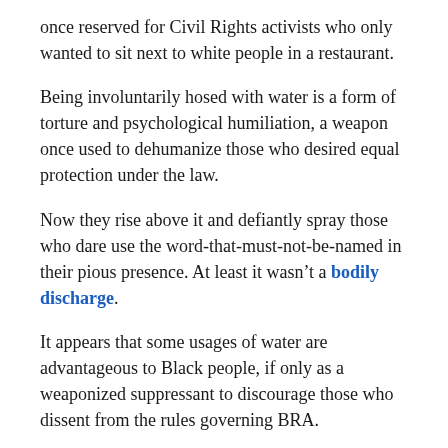once reserved for Civil Rights activists who only wanted to sit next to white people in a restaurant.
Being involuntarily hosed with water is a form of torture and psychological humiliation, a weapon once used to dehumanize those who desired equal protection under the law.
Now they rise above it and defiantly spray those who dare use the word-that-must-not-be-named in their pious presence. At least it wasn’t a bodily discharge.
It appears that some usages of water are advantageous to Black people, if only as a weaponized suppressant to discourage those who dissent from the rules governing BRA.
Remember, words that some groups use are off limits to others.